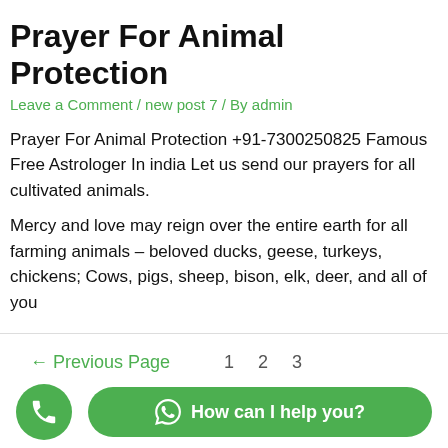Prayer For Animal Protection
Leave a Comment / new post 7 / By admin
Prayer For Animal Protection +91-7300250825 Famous Free Astrologer In india Let us send our prayers for all cultivated animals.
Mercy and love may reign over the entire earth for all farming animals – beloved ducks, geese, turkeys, chickens; Cows, pigs, sheep, bison, elk, deer, and all of you
← Previous Page   1   2   3